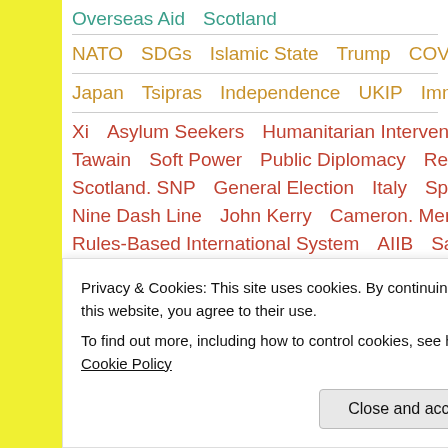Overseas Aid   Scotland
NATO   SDGs   Islamic State   Trump   COVID
Japan   Tsipras   Independence   UKIP   Immigration
Xi   Asylum Seekers   Humanitarian Intervention   Afghanistan
Tawain   Soft Power   Public Diplomacy   Reunification   E...
Scotland. SNP   General Election   Italy   Spain   Bailout
Nine Dash Line   John Kerry   Cameron. Merkel   Hammond
Rules-Based International System   AIIB   Sanctions   Minsk
Privacy & Cookies: This site uses cookies. By continuing to use this website, you agree to their use.
To find out more, including how to control cookies, see here: Cookie Policy